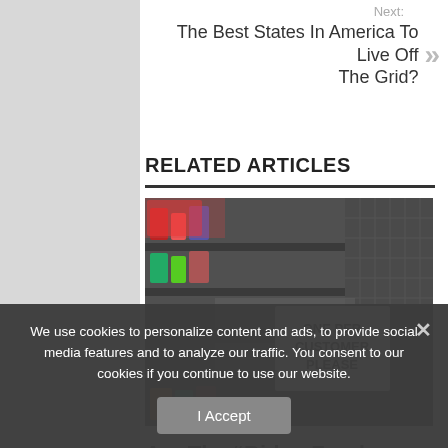Next: The Best States In America To Live Off The Grid? »
RELATED ARTICLES
[Figure (photo): Empty store shelves with a sign reading 'ONE PER CUSTOMER PLEASE']
Are The “Biden Food Shortages” On The Way?
We use cookies to personalize content and ads, to provide social media features and to analyze our traffic. You consent to our cookies if you continue to use our website.
I Accept